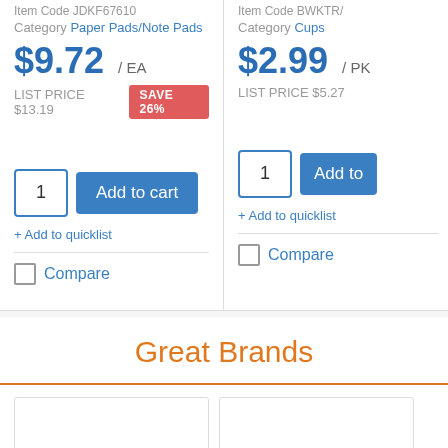Item Code JDKF67610
Category Paper Pads/Note Pads
$9.72 / EA
LIST PRICE $13.19  SAVE 26%
Add to cart
+ Add to quicklist
Compare
Item Code BWKTR/
Category Cups
$2.99 / PK
LIST PRICE $5.27
Add to
+ Add to quicklist
Compare
Great Brands